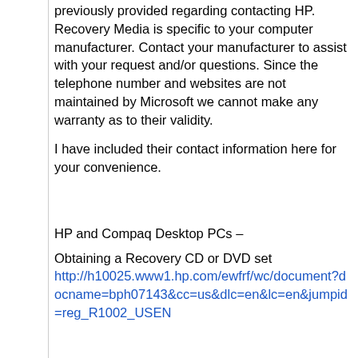previously provided regarding contacting HP. Recovery Media is specific to your computer manufacturer. Contact your manufacturer to assist with your request and/or questions. Since the telephone number and websites are not maintained by Microsoft we cannot make any warranty as to their validity.
I have included their contact information here for your convenience.
HP and Compaq Desktop PCs –
Obtaining a Recovery CD or DVD set http://h10025.www1.hp.com/ewfrf/wc/document?docname=bph07143&cc=us&dlc=en&lc=en&jumpid=reg_R1002_USEN